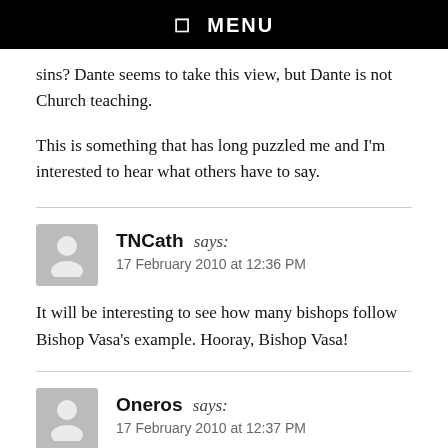☰ MENU
sins? Dante seems to take this view, but Dante is not Church teaching.
This is something that has long puzzled me and I'm interested to hear what others have to say.
TNCath says:
17 February 2010 at 12:36 PM
It will be interesting to see how many bishops follow Bishop Vasa's example. Hooray, Bishop Vasa!
Oneros says:
17 February 2010 at 12:37 PM